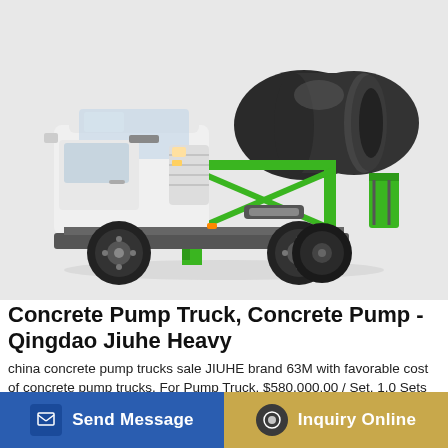[Figure (photo): A concrete pump truck with white cab and green frame/mixer support structure, featuring a large dark grey/black rotating drum mounted on the rear, photographed on a white background.]
Concrete Pump Truck, Concrete Pump - Qingdao Jiuhe Heavy
china concrete pump trucks sale JIUHE brand 63M with favorable cost of concrete pump trucks. For Pump Truck. $580,000.00 / Set. 1.0 Sets (Min. Order) Factory supply 38m 42m 48m 56m 63m truck mounted concrete pump cheap price ... Certifi...
Send Message
Inquiry Online